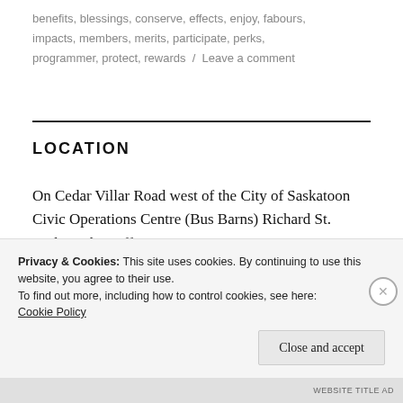benefits, blessings, conserve, effects, enjoy, fabours, impacts, members, merits, participate, perks, programmer, protect, rewards / Leave a comment
LOCATION
On Cedar Villar Road west of the City of Saskatoon Civic Operations Centre (Bus Barns) Richard St. Barbe Baker Afforestation Area is
Privacy & Cookies: This site uses cookies. By continuing to use this website, you agree to their use.
To find out more, including how to control cookies, see here:
Cookie Policy